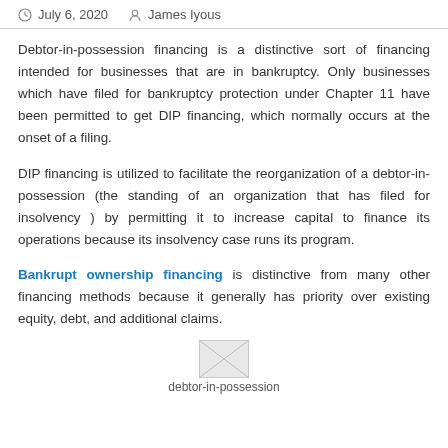July 6, 2020   James Iyous
Debtor-in-possession financing is a distinctive sort of financing intended for businesses that are in bankruptcy. Only businesses which have filed for bankruptcy protection under Chapter 11 have been permitted to get DIP financing, which normally occurs at the onset of a filing.
DIP financing is utilized to facilitate the reorganization of a debtor-in-possession (the standing of an organization that has filed for insolvency ) by permitting it to increase capital to finance its operations because its insolvency case runs its program.
Bankrupt ownership financing is distinctive from many other financing methods because it generally has priority over existing equity, debt, and additional claims.
[Figure (illustration): Small image placeholder with caption 'debtor-in-possession']